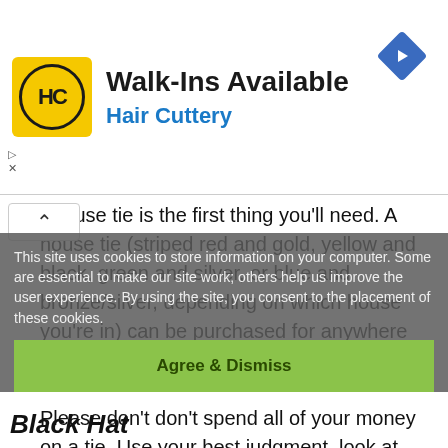[Figure (logo): Hair Cuttery advertisement banner with HC logo in yellow circle, 'Walk-Ins Available' headline, 'Hair Cuttery' subtitle in blue, and blue diamond navigation icon in top right]
r house tie is the first thing you'll need. A house tie (striped red and gold, yellow and black, green and silver, or blue and bronze/silver, depending on which house you're in) can be purchased for anywhere from $7 and $130.
Please don't spend all of your money on a tie. Use your best judgment, look at what other people say about the same product, and don't spend all of your money on a tie. Because it will be hidden beneath your vest, only the section near your neck will be visible.
This site uses cookies to store information on your computer. Some are essential to make our site work; others help us improve the user experience. By using the site, you consent to the placement of these cookies.
Agree & Dismiss
Black Hat